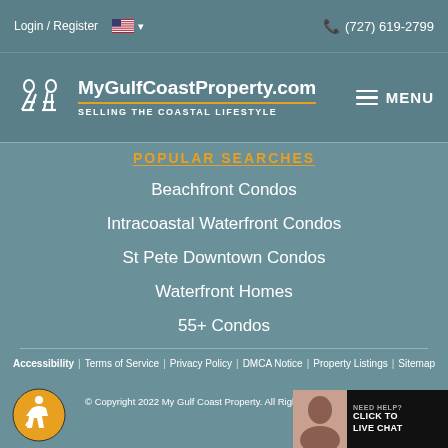Login / Register  🇺🇸 ▾   (727) 619-2799
[Figure (logo): MyGulfCoastProperty.com logo with two beach chairs icon, text: MyGulfCoastProperty.com, SELLING THE COASTAL LIFESTYLE. MENU button top right.]
POPULAR SEARCHES
Beachfront Condos
Intracoastal Waterfront Condos
St Pete Downtown Condos
Waterfront Homes
55+ Condos
Accessibility | Terms of Service | Privacy Policy | DMCA Notice | Property Listings | Sitemap
© Copyright 2022 My Gulf Coast Property. All Rights Reserved.